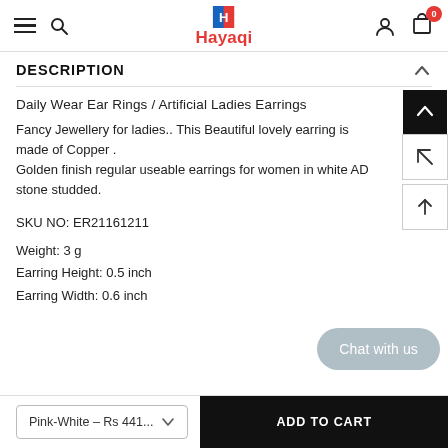Hayaqi — navigation header with hamburger, search, logo, user and cart icons
DESCRIPTION
Daily Wear Ear Rings / Artificial Ladies Earrings
Fancy Jewellery for ladies.. This Beautiful lovely earring is made of Copper .
Golden finish regular useable earrings for women in white AD stone studded.
SKU NO: ER21161211
Weight: 3 g
Earring Height: 0.5 inch
Earring Width: 0.6 inch
Pink-White – Rs 441...
ADD TO CART
Chat with us